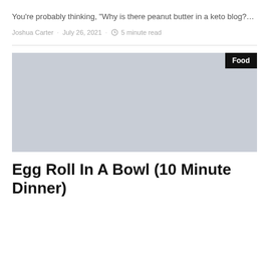You’re probably thinking, “Why is there peanut butter in a keto blog?…
Joshua Carter · July 26, 2021 · ⏱ 5 minute read
[Figure (photo): Large placeholder image with light blue-grey background and a 'Food' badge in the top-right corner]
Egg Roll In A Bowl (10 Minute Dinner)